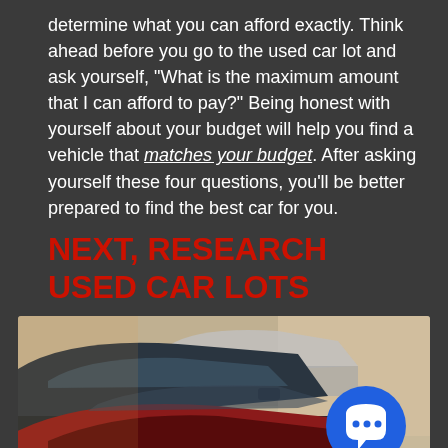determine what you can afford exactly. Think ahead before you go to the used car lot and ask yourself, “What is the maximum amount that I can afford to pay?” Being honest with yourself about your budget will help you find a vehicle that matches your budget. After asking yourself these four questions, you’ll be better prepared to find the best car for you.
NEXT, RESEARCH USED CAR LOTS
[Figure (photo): A row of used cars parked at a car lot, viewed from a low angle showing the rooflines and windows of several vehicles including dark blue and red cars. A blue chat bubble icon with three dots appears in the lower right. An accessibility icon appears in the lower left.]